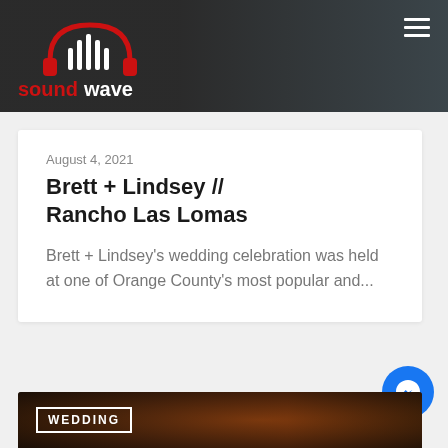[Figure (logo): Soundwave Productions logo with red and white text and soundwave icon on dark header background]
August 4, 2021
Brett + Lindsey // Rancho Las Lomas
Brett + Lindsey's wedding celebration was held at one of Orange County's most popular and...
[Figure (photo): Dark warm-toned photo at bottom of page with WEDDING text label overlay]